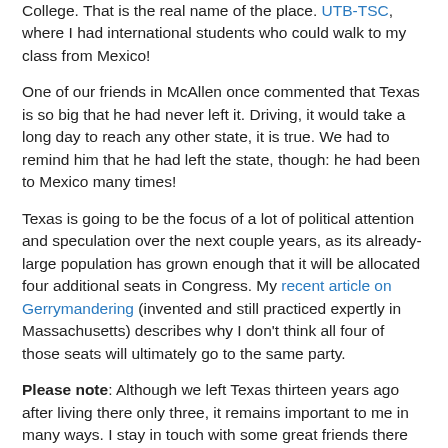College. That is the real name of the place. UTB-TSC, where I had international students who could walk to my class from Mexico!
One of our friends in McAllen once commented that Texas is so big that he had never left it. Driving, it would take a long day to reach any other state, it is true. We had to remind him that he had left the state, though: he had been to Mexico many times!
Texas is going to be the focus of a lot of political attention and speculation over the next couple years, as its already-large population has grown enough that it will be allocated four additional seats in Congress. My recent article on Gerrymandering (invented and still practiced expertly in Massachusetts) describes why I don't think all four of those seats will ultimately go to the same party.
Please note: Although we left Texas thirteen years ago after living there only three, it remains important to me in many ways. I stay in touch with some great friends there and follow developments, particularly in the border area. Search Texas posts on my blog for some of those stories.